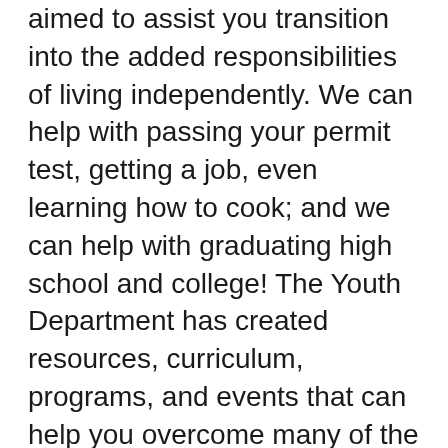aimed to assist you transition into the added responsibilities of living independently. We can help with passing your permit test, getting a job, even learning how to cook; and we can help with graduating high school and college! The Youth Department has created resources, curriculum, programs, and events that can help you overcome many of the barriers you may face as you transition into the next stage in your life.
Independence Associates can also assist you in self-advocacy, from the personal to the political. We have materials and programming that will help you learn about your rights as a person with disabilities and the laws that